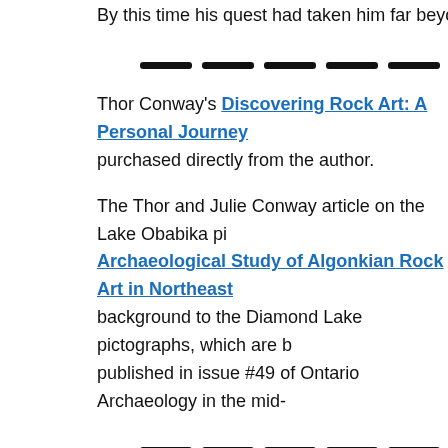By this time his quest had taken him far beyond the field o
Thor Conway's Discovering Rock Art: A Personal Journey purchased directly from the author.
The Thor and Julie Conway article on the Lake Obabika pi Archaeological Study of Algonkian Rock Art in Northeast background to the Diamond Lake pictographs, which are b published in issue #49 of Ontario Archaeology in the mid-
Dewdney mentions Cuttle lake in his discussion of the Dia Rajnovitch's article "Paired Morphs At Cuttle Lake" is in th Notes, the newsletter of the Ontario Archaeological Society of the panels and provides a point of comparison.